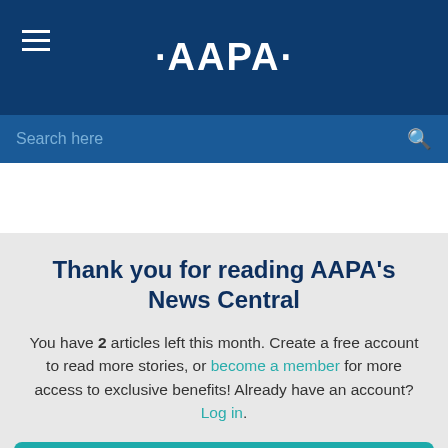[Figure (logo): AAPA logo on dark navy blue header bar with hamburger menu icon on the left]
Search here
Thank you for reading AAPA's News Central
You have 2 articles left this month. Create a free account to read more stories, or become a member for more access to exclusive benefits! Already have an account? Log in.
CREATE FREE ACCOUNT